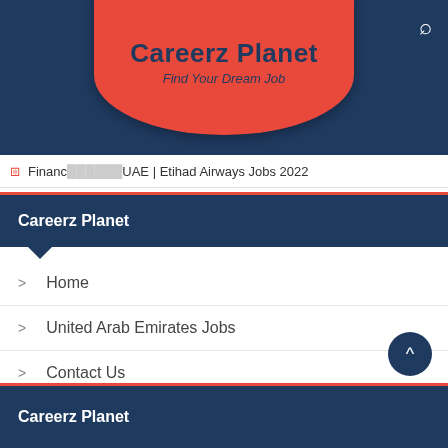Careerz Planet
Find Your Dream Job
Finance ... UAE | Etihad Airways Jobs 2022
Careerz Planet
Home
United Arab Emirates Jobs
Contact Us
About Us
Post Job
Careerz Planet